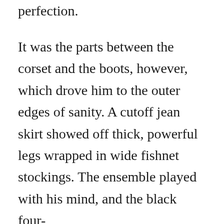perfection.
It was the parts between the corset and the boots, however, which drove him to the outer edges of sanity. A cutoff jean skirt showed off thick, powerful legs wrapped in wide fishnet stockings. The ensemble played with his mind, and the black four-